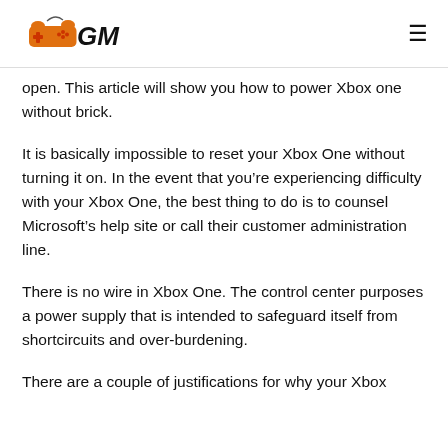GM (logo)
open. This article will show you how to power Xbox one without brick.
It is basically impossible to reset your Xbox One without turning it on. In the event that you’re experiencing difficulty with your Xbox One, the best thing to do is to counsel Microsoft’s help site or call their customer administration line.
There is no wire in Xbox One. The control center purposes a power supply that is intended to safeguard itself from shortcircuits and over-burdening.
There are a couple of justifications for why your Xbox